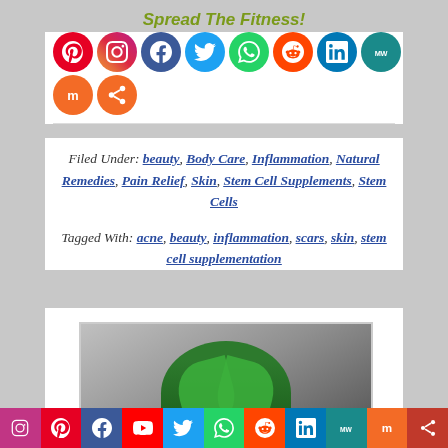Spread The Fitness!
[Figure (infographic): Social media sharing icons: Pinterest, Instagram, Facebook, Twitter, WhatsApp, Reddit, LinkedIn, MeWe, Mix, Share]
Filed Under: beauty, Body Care, Inflammation, Natural Remedies, Pain Relief, Skin, Stem Cell Supplements, Stem Cells
Tagged With: acne, beauty, inflammation, scars, skin, stem cell supplementation
[Figure (photo): Partial image of a plant/seedling in a circular frame against gray background]
[Figure (infographic): Bottom social media bar: Instagram, Pinterest, Facebook, YouTube, Twitter, WhatsApp, Reddit, LinkedIn, MeWe, Mix, Share]